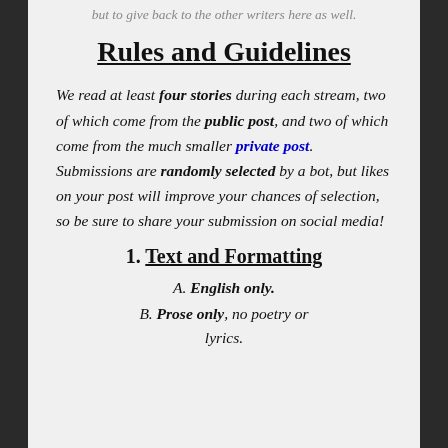but to give back to the other writers here as well.
Rules and Guidelines
We read at least four stories during each stream, two of which come from the public post, and two of which come from the much smaller private post. Submissions are randomly selected by a bot, but likes on your post will improve your chances of selection, so be sure to share your submission on social media!
1. Text and Formatting
A. English only.
B. Prose only, no poetry or lyrics.